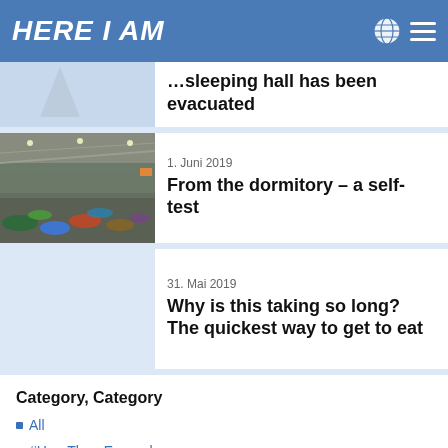HERE I AM
...sleeping hall has been evacuated
1. Juni 2019
From the dormitory – a self-test
31. Mai 2019
Why is this taking so long? The quickest way to get to eat
Category, Category
All
#HereThereEverywhere